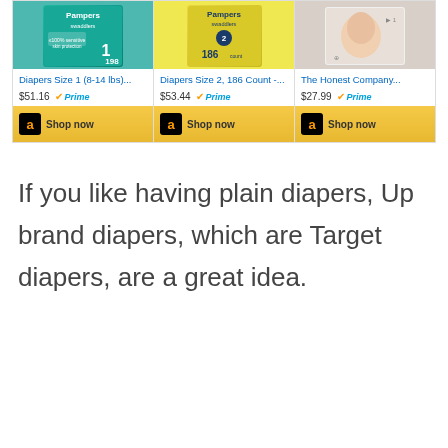[Figure (screenshot): Amazon product ads showing three diaper products: Diapers Size 1 (8-14 lbs) for $51.16 Prime, Diapers Size 2 186 Count for $53.44 Prime, The Honest Company for $27.99 Prime, each with a Shop now button.]
If you like having plain diapers, Up brand diapers, which are Target diapers, are a great idea.